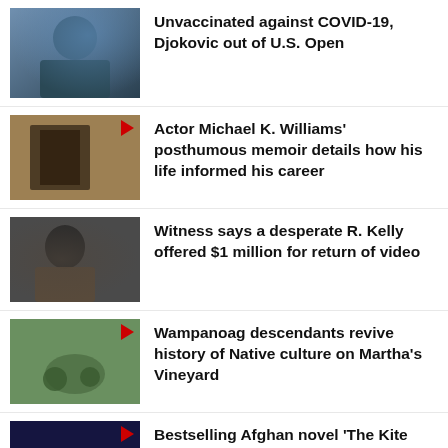Unvaccinated against COVID-19, Djokovic out of U.S. Open
Actor Michael K. Williams' posthumous memoir details how his life informed his career
Witness says a desperate R. Kelly offered $1 million for return of video
Wampanoag descendants revive history of Native culture on Martha's Vineyard
Bestselling Afghan novel 'The Kite Runner' is adapted for Broadway
Placido Domingo's name comes up in Argentina sex sect probe